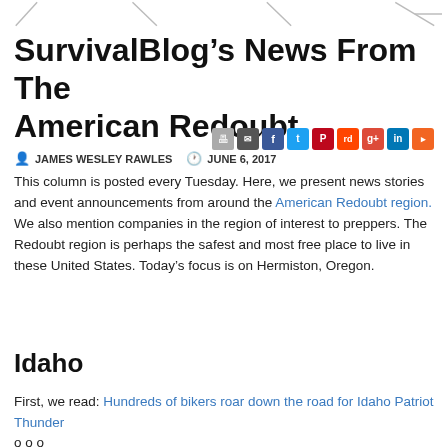\ / / |-
SurvivalBlog’s News From The American Redoubt
JAMES WESLEY RAWLES   JUNE 6, 2017
[Figure (infographic): Social sharing icons: print, email, Facebook, Twitter, Pinterest, Reddit, Google+, LinkedIn, RSS]
This column is posted every Tuesday. Here, we present news stories and event announcements from around the American Redoubt region. We also mention companies in the region of interest to preppers. The Redoubt region is perhaps the safest and most free place to live in these United States. Today’s focus is on Hermiston, Oregon.
Idaho
First, we read: Hundreds of bikers roar down the road for Idaho Patriot Thunder